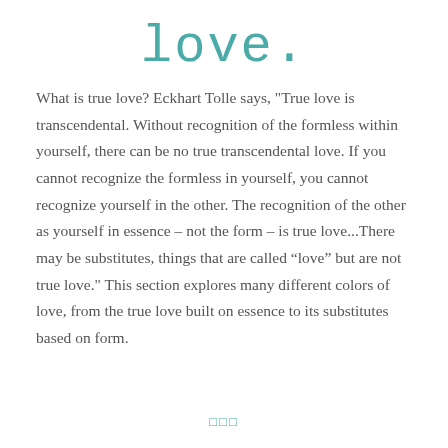love.
What is true love? Eckhart Tolle says, "True love is transcendental. Without recognition of the formless within yourself, there can be no true transcendental love. If you cannot recognize the formless in yourself, you cannot recognize yourself in the other. The recognition of the other as yourself in essence – not the form – is true love...There may be substitutes, things that are called “love” but are not true love." This section explores many different colors of love, from the true love built on essence to its substitutes based on form.
◻◻◻